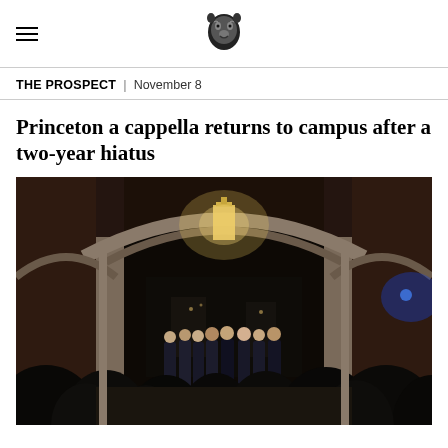THE PROSPECT | November 8
Princeton a cappella returns to campus after a two-year hiatus
[Figure (photo): A group of young men in formal attire performing a cappella under an illuminated stone archway at night, with an audience watching from the foreground]